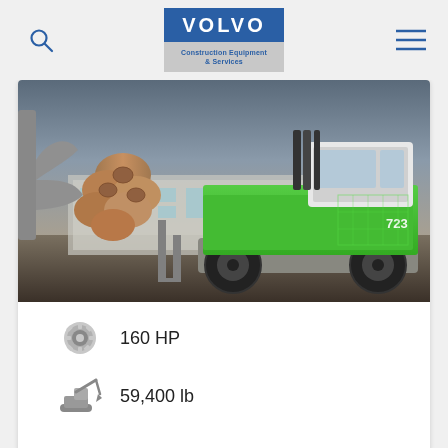[Figure (logo): Volvo Construction Equipment & Services logo — blue rectangle with VOLVO in white letters, grey rectangle below with 'Construction Equipment & Services' in blue text]
[Figure (photo): Green material handler machine (model 723) on wheeled undercarriage, grappling a bundle of logs, parked in an industrial yard with a building in the background, overcast sky]
160 HP
59,400 lb